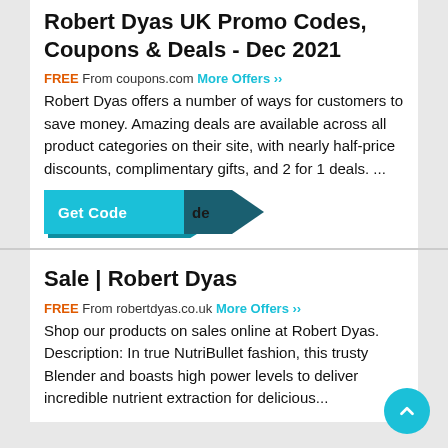Robert Dyas UK Promo Codes, Coupons & Deals - Dec 2021
FREE From coupons.com More Offers ›› Robert Dyas offers a number of ways for customers to save money. Amazing deals are available across all product categories on their site, with nearly half-price discounts, complimentary gifts, and 2 for 1 deals. ...
[Figure (other): Get Code button with teal arrow shape and shadow, overlapping dark arrow with text 'de']
Sale | Robert Dyas
FREE From robertdyas.co.uk More Offers ›› Shop our products on sales online at Robert Dyas. Description: In true NutriBullet fashion, this trusty Blender and boasts high power levels to deliver incredible nutrient extraction for delicious...